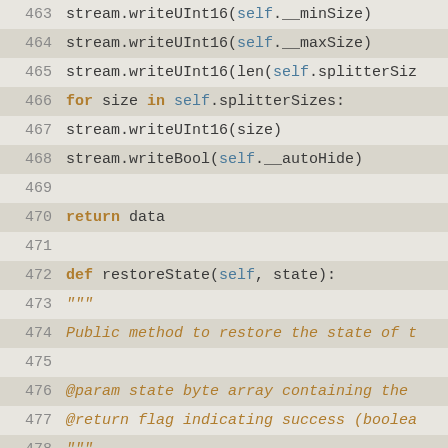[Figure (screenshot): Python source code snippet showing lines 463–489, including methods for writing stream data and restoreState function definition with docstring and implementation.]